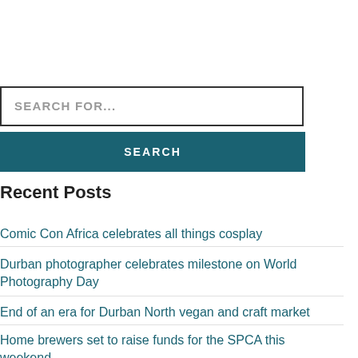SEARCH FOR...
SEARCH
Recent Posts
Comic Con Africa celebrates all things cosplay
Durban photographer celebrates milestone on World Photography Day
End of an era for Durban North vegan and craft market
Home brewers set to raise funds for the SPCA this weekend